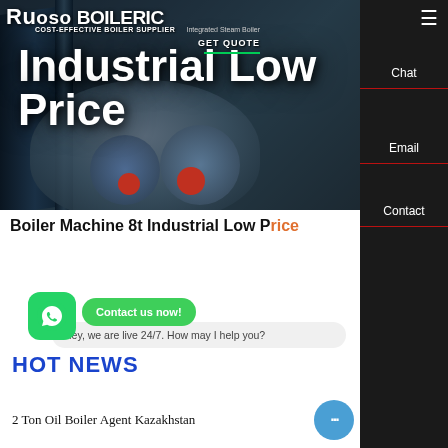[Figure (screenshot): Industrial boiler machinery hero image with dark blue-grey background showing large cylindrical boiler equipment]
Industrial Low Price
Boiler Machine 8t Industrial Low Price
HOT NEWS
Hey, we are live 24/7. How may I help you?
2 Ton Oil Boiler Agent Kazakhstan